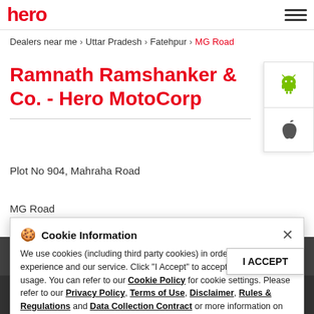Hero MotoCorp logo and navigation
Dealers near me > Uttar Pradesh > Fatehpur > MG Road
Ramnath Ramshanker & Co. - Hero MotoCorp
Plot No 904, Mahraha Road
MG Road
Fatehpur - 212635
Near Roadways Bus Stand
Closed for the day
Sales  Service
Cookie Information
We use cookies (including third party cookies) in order to improve your experience and our service. Click "I Accept" to accept the cookie usage. You can refer to our Cookie Policy for cookie settings. Please refer to our Privacy Policy, Terms of Use, Disclaimer, Rules & Regulations and Data Collection Contract or more information on personal data usage.